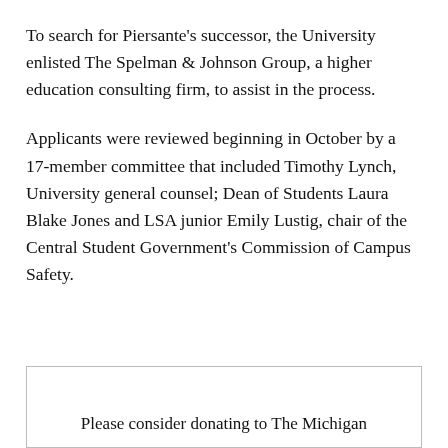To search for Piersante's successor, the University enlisted The Spelman & Johnson Group, a higher education consulting firm, to assist in the process.
Applicants were reviewed beginning in October by a 17-member committee that included Timothy Lynch, University general counsel; Dean of Students Laura Blake Jones and LSA junior Emily Lustig, chair of the Central Student Government's Commission of Campus Safety.
Please consider donating to The Michigan